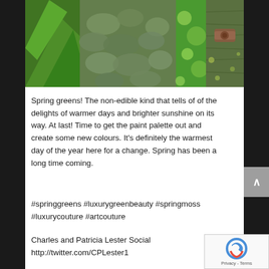[Figure (photo): A collage of four green-themed nature photos: tropical green leaves (left), mossy stone wall (center-left), water droplets on green surface (center-right), and a rusty metal bracket on aged green wood (right).]
Spring greens! The non-edible kind that tells of of the delights of warmer days and brighter sunshine on its way. At last! Time to get the paint palette out and create some new colours. It's definitely the warmest day of the year here for a change. Spring has been a long time coming.
#springgreens #luxurygreenbeauty #springmoss #luxurycouture #artcouture
Charles and Patricia Lester Social
http://twitter.com/CPLester1